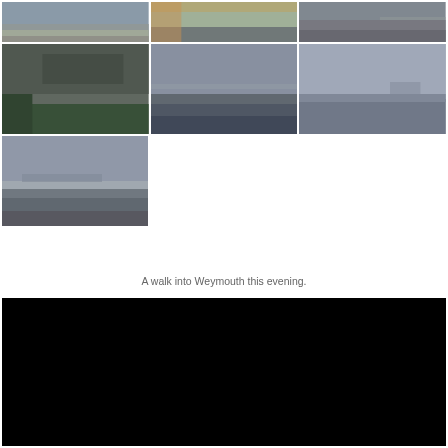[Figure (photo): Grid of outdoor coastal/landscape photographs. Row 1: three photos of a coastal area with rocky/sandy shore and grey skies. Row 2: three photos including a path along a fortification with green grass, open sea views with overcast skies, and a grey sea with a distant vessel. Row 3: one photo of the sea with hills in background under grey sky.]
A walk into Weymouth this evening.
[Figure (photo): Very dark (almost black) photograph, likely an evening/night scene.]